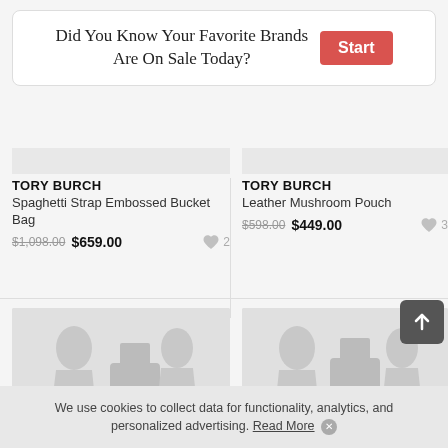Did You Know Your Favorite Brands Are On Sale Today?
TORY BURCH
Spaghetti Strap Embossed Bucket Bag
$1,098.00 $659.00 ♥ 2
TORY BURCH
Leather Mushroom Pouch
$598.00 $449.00 ♥ 3
[Figure (illustration): Placeholder product image with fashion silhouettes on grey background, left card]
[Figure (illustration): Placeholder product image with fashion silhouettes on grey background, right card]
We use cookies to collect data for functionality, analytics, and personalized advertising. Read More ×